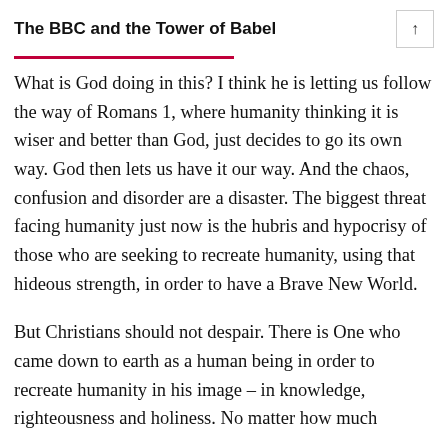The BBC and the Tower of Babel
What is God doing in this? I think he is letting us follow the way of Romans 1, where humanity thinking it is wiser and better than God, just decides to go its own way. God then lets us have it our way. And the chaos, confusion and disorder are a disaster. The biggest threat facing humanity just now is the hubris and hypocrisy of those who are seeking to recreate humanity, using that hideous strength, in order to have a Brave New World.
But Christians should not despair. There is One who came down to earth as a human being in order to recreate humanity in his image – in knowledge, righteousness and holiness. No matter how much